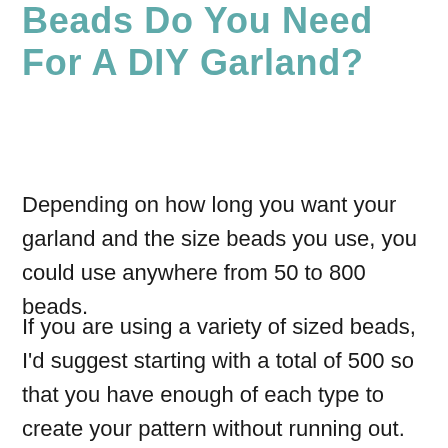Beads Do You Need For A DIY Garland?
Depending on how long you want your garland and the size beads you use, you could use anywhere from 50 to 800 beads.
If you are using a variety of sized beads, I'd suggest starting with a total of 500 so that you have enough of each type to create your pattern without running out.